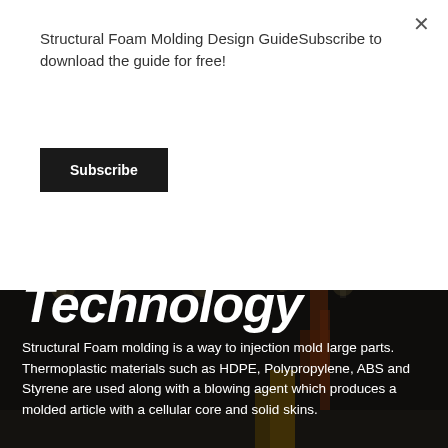Structural Foam Molding Design GuideSubscribe to download the guide for free!
Subscribe
Technology
Structural Foam molding is a way to injection mold large parts. Thermoplastic materials such as HDPE, Polypropylene, ABS and Styrene are used along with a blowing agent which produces a molded article with a cellular core and solid skins.